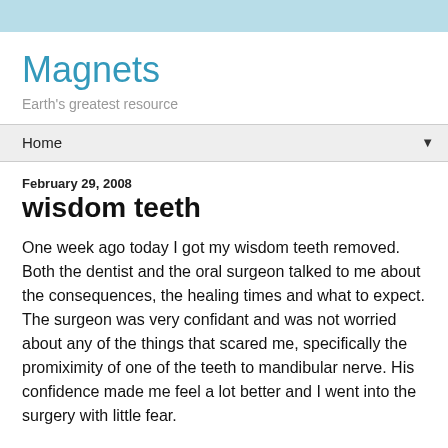Magnets
Earth's greatest resource
Home
February 29, 2008
wisdom teeth
One week ago today I got my wisdom teeth removed. Both the dentist and the oral surgeon talked to me about the consequences, the healing times and what to expect. The surgeon was very confidant and was not worried about any of the things that scared me, specifically the promiximity of one of the teeth to mandibular nerve. His confidence made me feel a lot better and I went into the surgery with little fear.